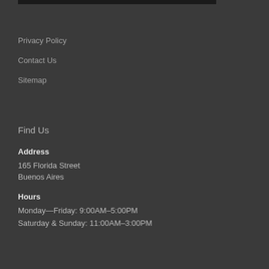Privacy Policy
Contact Us
Sitemap
Find Us
Address
165 Florida Street
Buenos Aires
Hours
Monday—Friday: 9:00AM–5:00PM
Saturday & Sunday: 11:00AM–3:00PM